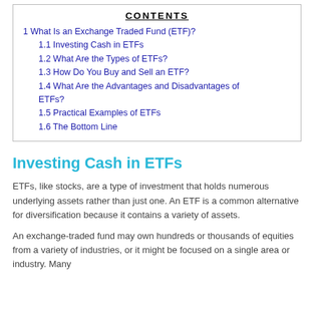1 What Is an Exchange Traded Fund (ETF)?
1.1 Investing Cash in ETFs
1.2 What Are the Types of ETFs?
1.3 How Do You Buy and Sell an ETF?
1.4 What Are the Advantages and Disadvantages of ETFs?
1.5 Practical Examples of ETFs
1.6 The Bottom Line
Investing Cash in ETFs
ETFs, like stocks, are a type of investment that holds numerous underlying assets rather than just one. An ETF is a common alternative for diversification because it contains a variety of assets.
An exchange-traded fund may own hundreds or thousands of equities from a variety of industries, or it might be focused on a single area or industry. Many